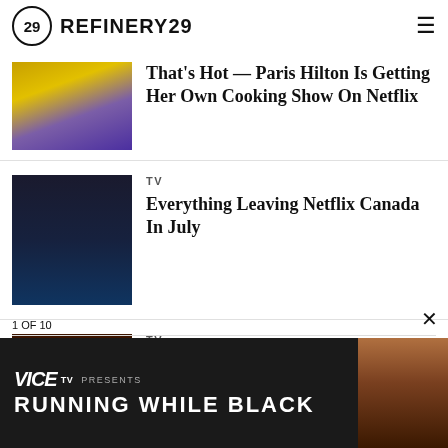REFINERY29
That's Hot — Paris Hilton Is Getting Her Own Cooking Show On Netflix
TV
Everything Leaving Netflix Canada In July
TV
After A Whole Year Of Silence, Netflix Actually Cancelled This Epi...
1 OF 10
[Figure (screenshot): VICE TV PRESENTS RUNNING WHILE BLACK advertisement banner at bottom of page]